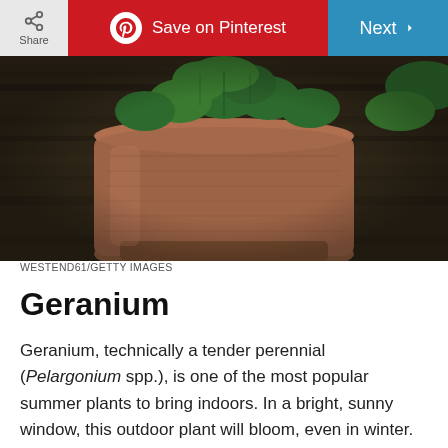Share | Save on Pinterest | Next >
[Figure (photo): A terracotta pot with geranium plant on a dark wooden surface, photographed from the side showing the pot and green leaves at the top]
WESTEND61/GETTY IMAGES
Geranium
Geranium, technically a tender perennial (Pelargonium spp.), is one of the most popular summer plants to bring indoors. In a bright, sunny window, this outdoor plant will bloom, even in winter. Do not overwater — allow the soil to dry out between waterings.